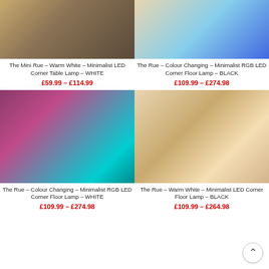[Figure (photo): Product photo of Mini Rue Warm White Minimalist LED Corner Table Lamp in warm room setting]
[Figure (photo): Product photo of The Rue Colour Changing Minimalist RGB LED Corner Floor Lamp in room with blue light]
The Mini Rue – Warm White – Minimalist LED Corner Table Lamp – WHITE
£59.99 – £114.99
The Rue – Colour Changing – Minimalist RGB LED Corner Floor Lamp – BLACK
£109.99 – £274.98
[Figure (photo): Product photo of The Rue Colour Changing Minimalist RGB LED Corner Floor Lamp in room with teal and magenta lighting]
[Figure (photo): Product photo of The Rue Warm White Minimalist LED Corner Floor Lamp in traditional room with fireplace]
The Rue – Colour Changing – Minimalist RGB LED Corner Floor Lamp – WHITE
£109.99 – £274.98
The Rue – Warm White – Minimalist LED Corner Floor Lamp – BLACK
£109.99 – £264.98